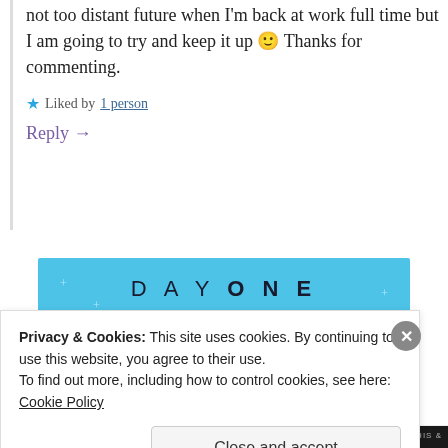I imagine that is what will happen in the not too distant future when I'm back at work full time but I am going to try and keep it up 🙂 Thanks for commenting.
★ Liked by 1 person
Reply →
[Figure (screenshot): Day One journaling app advertisement banner with light blue background, stars/sparkles, text: DAY ONE - The only journaling app you'll ever need.]
Privacy & Cookies: This site uses cookies. By continuing to use this website, you agree to their use.
To find out more, including how to control cookies, see here: Cookie Policy
Close and accept